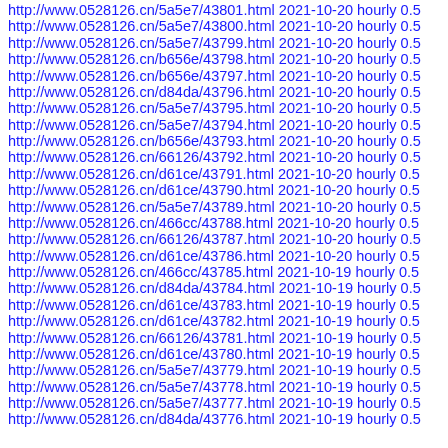http://www.0528126.cn/5a5e7/43801.html 2021-10-20 hourly 0.5
http://www.0528126.cn/5a5e7/43800.html 2021-10-20 hourly 0.5
http://www.0528126.cn/5a5e7/43799.html 2021-10-20 hourly 0.5
http://www.0528126.cn/b656e/43798.html 2021-10-20 hourly 0.5
http://www.0528126.cn/b656e/43797.html 2021-10-20 hourly 0.5
http://www.0528126.cn/d84da/43796.html 2021-10-20 hourly 0.5
http://www.0528126.cn/5a5e7/43795.html 2021-10-20 hourly 0.5
http://www.0528126.cn/5a5e7/43794.html 2021-10-20 hourly 0.5
http://www.0528126.cn/b656e/43793.html 2021-10-20 hourly 0.5
http://www.0528126.cn/66126/43792.html 2021-10-20 hourly 0.5
http://www.0528126.cn/d61ce/43791.html 2021-10-20 hourly 0.5
http://www.0528126.cn/d61ce/43790.html 2021-10-20 hourly 0.5
http://www.0528126.cn/5a5e7/43789.html 2021-10-20 hourly 0.5
http://www.0528126.cn/466cc/43788.html 2021-10-20 hourly 0.5
http://www.0528126.cn/66126/43787.html 2021-10-20 hourly 0.5
http://www.0528126.cn/d61ce/43786.html 2021-10-20 hourly 0.5
http://www.0528126.cn/466cc/43785.html 2021-10-19 hourly 0.5
http://www.0528126.cn/d84da/43784.html 2021-10-19 hourly 0.5
http://www.0528126.cn/d61ce/43783.html 2021-10-19 hourly 0.5
http://www.0528126.cn/d61ce/43782.html 2021-10-19 hourly 0.5
http://www.0528126.cn/66126/43781.html 2021-10-19 hourly 0.5
http://www.0528126.cn/d61ce/43780.html 2021-10-19 hourly 0.5
http://www.0528126.cn/5a5e7/43779.html 2021-10-19 hourly 0.5
http://www.0528126.cn/5a5e7/43778.html 2021-10-19 hourly 0.5
http://www.0528126.cn/5a5e7/43777.html 2021-10-19 hourly 0.5
http://www.0528126.cn/d84da/43776.html 2021-10-19 hourly 0.5